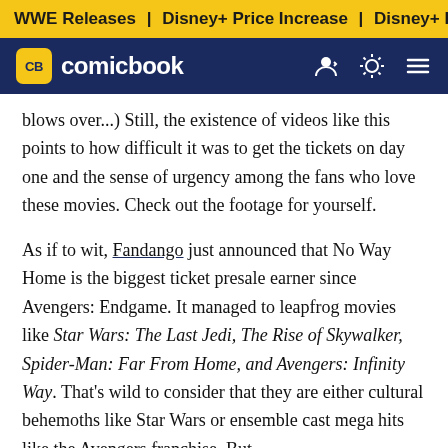WWE Releases | Disney+ Price Increase | Disney+ Price Incre...
[Figure (logo): ComicBook.com logo with CB badge in yellow on dark navy navigation bar]
blows over...) Still, the existence of videos like this points to how difficult it was to get the tickets on day one and the sense of urgency among the fans who love these movies. Check out the footage for yourself.
As if to wit, Fandango just announced that No Way Home is the biggest ticket presale earner since Avengers: Endgame. It managed to leapfrog movies like Star Wars: The Last Jedi, The Rise of Skywalker, Spider-Man: Far From Home, and Avengers: Infinity Way. That's wild to consider that they are either cultural behemoths like Star Wars or ensemble cast mega hits like the Avengers franchise. But